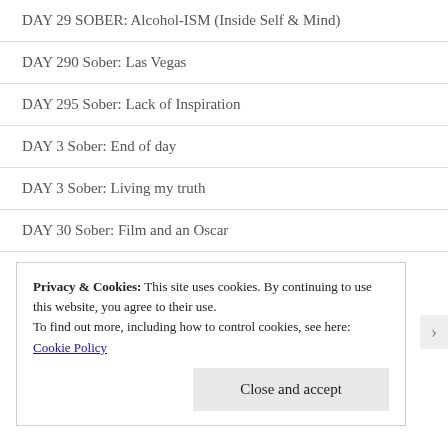DAY 29 SOBER: Alcohol-ISM (Inside Self & Mind)
DAY 290 Sober: Las Vegas
DAY 295 Sober: Lack of Inspiration
DAY 3 Sober: End of day
DAY 3 Sober: Living my truth
DAY 30 Sober: Film and an Oscar
DAY 30 Sobers: 720hrs43200min2592000sec
Privacy & Cookies: This site uses cookies. By continuing to use this website, you agree to their use. To find out more, including how to control cookies, see here: Cookie Policy
Close and accept